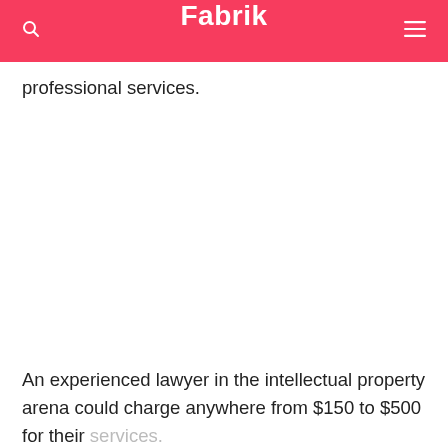Fabrik
professional services.
An experienced lawyer in the intellectual property arena could charge anywhere from $150 to $500 for their services.